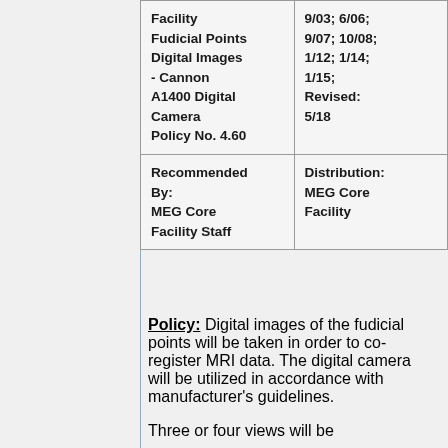| Facility Fudicial Points Digital Images - Cannon A1400 Digital Camera
Policy No. 4.60 | 9/03; 6/06; 9/07; 10/08; 1/12; 1/14; 1/15;
Revised: 5/18 |
| Recommended By:
MEG Core Facility Staff | Distribution:
MEG Core Facility |
Policy: Digital images of the fudicial points will be taken in order to co-register MRI data. The digital camera will be utilized in accordance with manufacturer's guidelines.
Three or four views will be